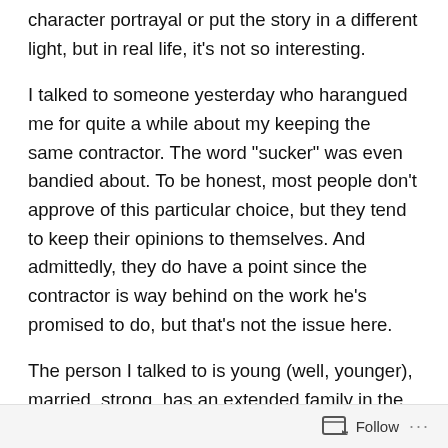character portrayal or put the story in a different light, but in real life, it’s not so interesting.
I talked to someone yesterday who harangued me for quite a while about my keeping the same contractor. The word “sucker” was even bandied about. To be honest, most people don’t approve of this particular choice, but they tend to keep their opinions to themselves. And admittedly, they do have a point since the contractor is way behind on the work he’s promised to do, but that’s not the issue here.
The person I talked to is young (well, younger), married, strong, has an extended family in the vicinity, has lived in the same area his whole life so he has a solid place in the community and knows where to go and who to call to get
Follow